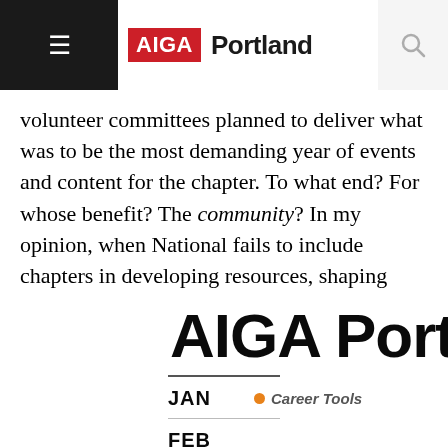AIGA Portland
volunteer committees planned to deliver what was to be the most demanding year of events and content for the chapter. To what end? For whose benefit? The community? In my opinion, when National fails to include chapters in developing resources, shaping membership models; or informing chapters on how to leverage resources, chapters burn out. People burn out.
AIGA Portla
JAN   ● Career Tools
FEB